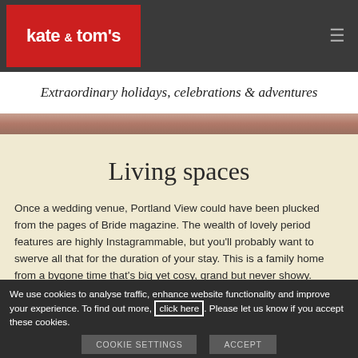kate & tom's
Extraordinary holidays, celebrations & adventures
[Figure (photo): Decorative photo strip showing wedding/celebration imagery in warm tones]
Living spaces
Once a wedding venue, Portland View could have been plucked from the pages of Bride magazine. The wealth of lovely period features are highly Instagrammable, but you'll probably want to swerve all that for the duration of your stay. This is a family home from a bygone time that's big yet cosy, grand but never showy.
We use cookies to analyse traffic, enhance website functionality and improve your experience. To find out more, click here. Please let us know if you accept these cookies.
COOKIE SETTINGS   ACCEPT